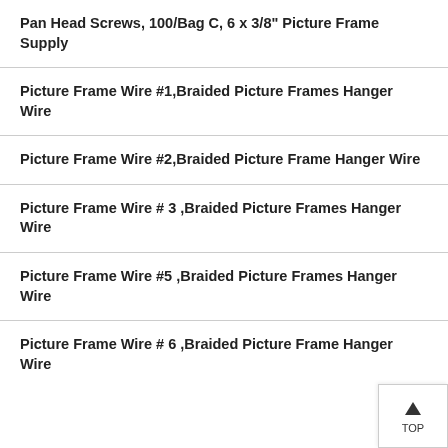Pan Head Screws, 100/Bag C, 6 x 3/8" Picture Frame Supply
Picture Frame Wire #1,Braided Picture Frames Hanger Wire
Picture Frame Wire #2,Braided Picture Frame Hanger Wire
Picture Frame Wire # 3 ,Braided Picture Frames Hanger Wire
Picture Frame Wire #5 ,Braided Picture Frames Hanger Wire
Picture Frame Wire # 6 ,Braided Picture Frame Hanger Wire